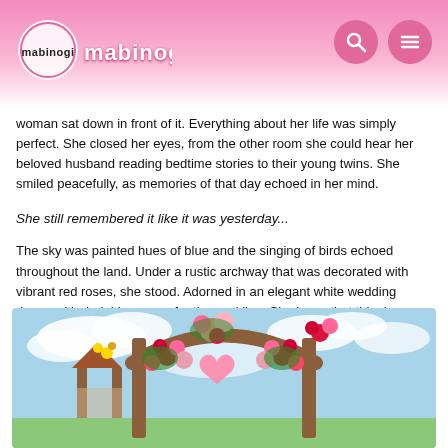mabinogi
woman sat down in front of it. Everything about her life was simply perfect. She closed her eyes, from the other room she could hear her beloved husband reading bedtime stories to their young twins. She smiled peacefully, as memories of that day echoed in her mind.
She still remembered it like it was yesterday...
The sky was painted hues of blue and the singing of birds echoed throughout the land. Under a rustic archway that was decorated with vibrant red roses, she stood. Adorned in an elegant white wedding dress, with dark blue roses for the neckline. She knew that this day was going to be the most perfect and enchanting day of her life.
[Figure (illustration): An illustrated game scene showing a rustic wooden archway decorated with red and pink roses under a blue sky with clouds. Appears to be from the Mabinogi online game.]